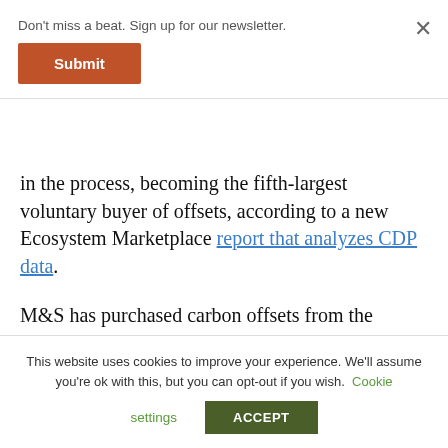Don't miss a beat. Sign up for our newsletter.
Submit
in the process, becoming the fifth-largest voluntary buyer of offsets, according to a new Ecosystem Marketplace report that analyzes CDP data.
M&S has purchased carbon offsets from the Kasigau Sustainable Farming project in Kenya developed according to a Verified Carbon Standard (VCS) methodology, the VCS Sabah rainforest rehabilitation project in Borneo and a VCS waste-
This website uses cookies to improve your experience. We'll assume you're ok with this, but you can opt-out if you wish. Cookie settings ACCEPT